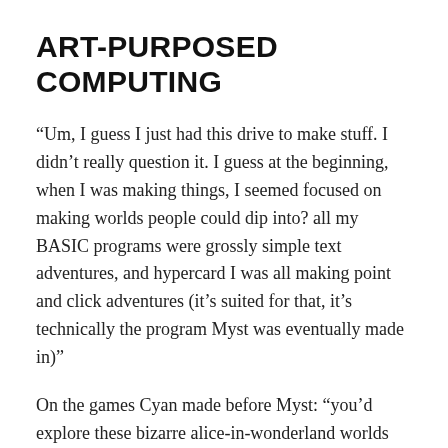ART-PURPOSED COMPUTING
“Um, I guess I just had this drive to make stuff. I didn’t really question it. I guess at the beginning, when I was making things, I seemed focused on making worlds people could dip into? all my BASIC programs were grossly simple text adventures, and hypercard I was all making point and click adventures (it’s suited for that, it’s technically the program Myst was eventually made in)”
On the games Cyan made before Myst: “you’d explore these bizarre alice-in-wonderland worlds that were full of stuff that reacted in funny ways when you clicked on them”